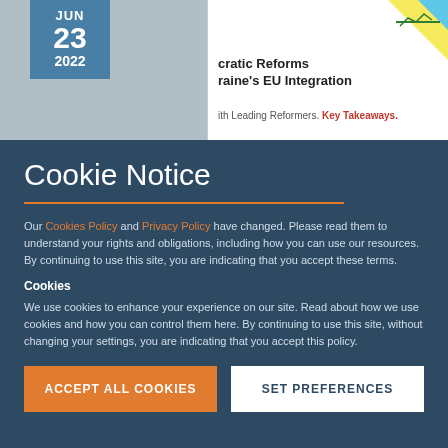[Figure (screenshot): Top banner with date box showing JUN 23 2022 and a partial article card on the right showing 'cratic Reforms raine's EU Integration th Leading Reformers. Key Takeaways.']
Cookie Notice
Our Cookies Policy and Privacy Policy have changed. Please read them to understand your rights and obligations, including how you can use our resources. By continuing to use this site, you are indicating that you accept these terms.
Cookies
We use cookies to enhance your experience on our site. Read about how we use cookies and how you can control them here. By continuing to use this site, without changing your settings, you are indicating that you accept this policy.
ACCEPT ALL COOKIES
SET PREFERENCES